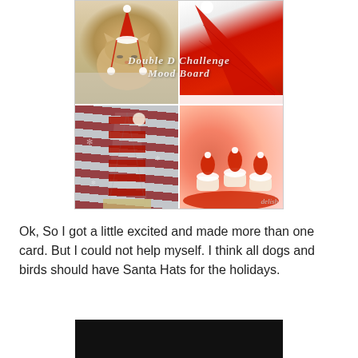[Figure (photo): A 2x2 mood board collage with overlay text reading 'Double D Challenge Mood Board'. Top-left: a cat wearing a white Santa hat with red ribbon. Top-right: a red crochet Santa hat. Bottom-left: a red and white striped knit elf hat. Bottom-right: strawberry Santa hat cupcakes on a red plate. Small 'delish' watermark in bottom-right corner.]
Ok, So I got a little excited and made more than one card.  But I could not help myself.  I think all dogs and birds should have Santa Hats for the holidays.
[Figure (screenshot): A dark/black rectangular strip at the bottom of the page, partially visible, appearing to be a video or image thumbnail.]